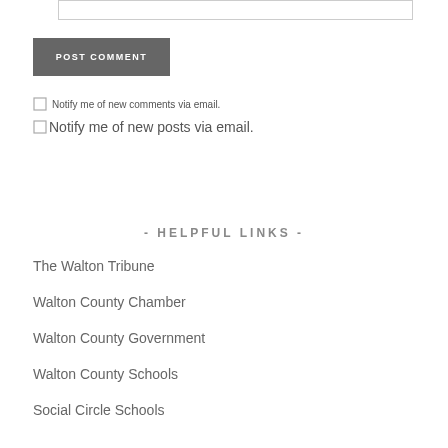[Figure (other): Input text field (partial, top of page)]
POST COMMENT
Notify me of new comments via email.
Notify me of new posts via email.
- HELPFUL LINKS -
The Walton Tribune
Walton County Chamber
Walton County Government
Walton County Schools
Social Circle Schools